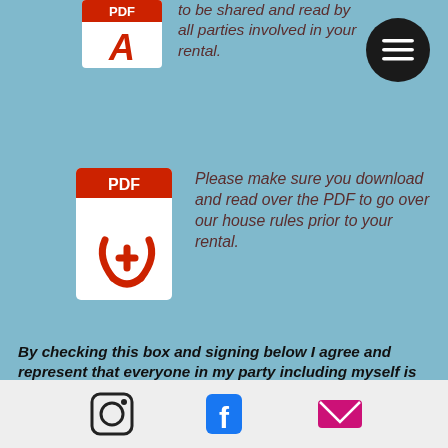to be shared and read by all parties involved in your rental.
[Figure (illustration): Adobe PDF file icon with red banner showing PDF text and red Acrobat logo below]
Please make sure you download and read over the PDF to go over our house rules prior to your rental.
[Figure (illustration): Adobe PDF file icon with red banner showing PDF text and red Acrobat logo below]
By checking this box and signing below I agree and represent that everyone in my party including myself is over 18 years of age during this rental as well as future rentals with White Box
[Figure (illustration): Footer with Instagram, Facebook, and email envelope icons on light gray background]